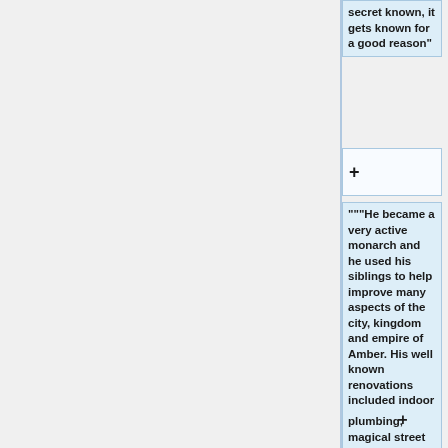secret known, it gets known for a good reason"
+
"""He became a very active monarch and he used his siblings to help improve many aspects of the city, kingdom and empire of Amber. His well known renovations included indoor plumbing, magical street lighting, puzzled stone